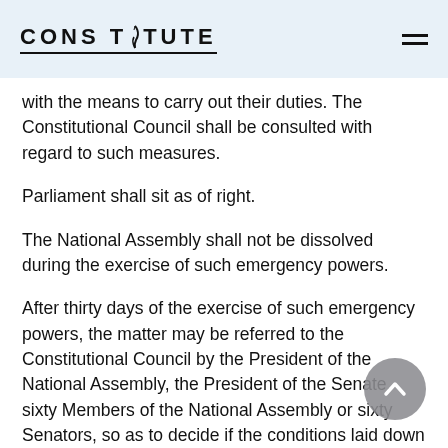CONSTITUTE
with the means to carry out their duties. The Constitutional Council shall be consulted with regard to such measures.
Parliament shall sit as of right.
The National Assembly shall not be dissolved during the exercise of such emergency powers.
After thirty days of the exercise of such emergency powers, the matter may be referred to the Constitutional Council by the President of the National Assembly, the President of the Senate, sixty Members of the National Assembly or sixty Senators, so as to decide if the conditions laid down in paragraph one still apply. The Council shall make its decision publicly as soon as possible. It shall, as of right, carry out such an